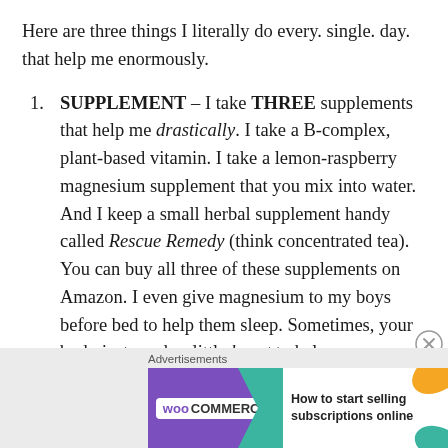Here are three things I literally do every. single. day. that help me enormously.
SUPPLEMENT – I take THREE supplements that help me drastically. I take a B-complex, plant-based vitamin. I take a lemon-raspberry magnesium supplement that you mix into water. And I keep a small herbal supplement handy called Rescue Remedy (think concentrated tea). You can buy all three of these supplements on Amazon. I even give magnesium to my boys before bed to help them sleep. Sometimes, your body just needs a little boost to help your nervous system calm.
[Figure (other): WooCommerce advertisement banner: purple background with WooCommerce logo, teal arrow shape, and text 'How to start selling subscriptions online' with orange and teal leaf shapes]